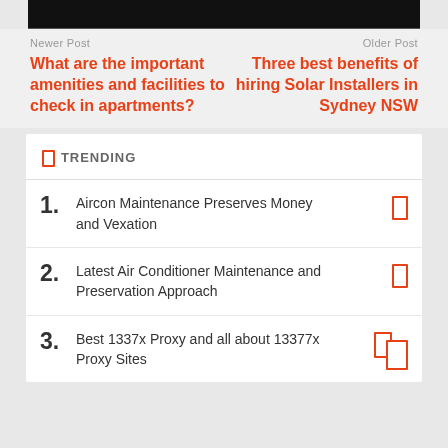[Figure (photo): Dark image bar at top of page, partially cropped]
Newer Post
What are the important amenities and facilities to check in apartments?
Older Post
Three best benefits of hiring Solar Installers in Sydney NSW
TRENDING
1. Aircon Maintenance Preserves Money and Vexation
2. Latest Air Conditioner Maintenance and Preservation Approach
3. Best 1337x Proxy and all about 13377x Proxy Sites